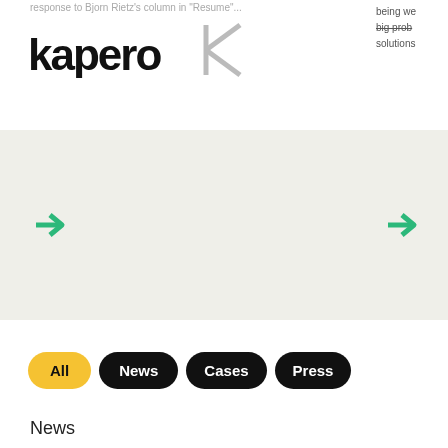response to Bjorn Rietz's column in "Resume"...
[Figure (logo): Kapero logo with text 'kapero' and a stylized K icon]
being we... big prob... solutions...
[Figure (infographic): Carousel navigation area with gray background and two green right-arrow icons on left and right sides]
All
News
Cases
Press
News